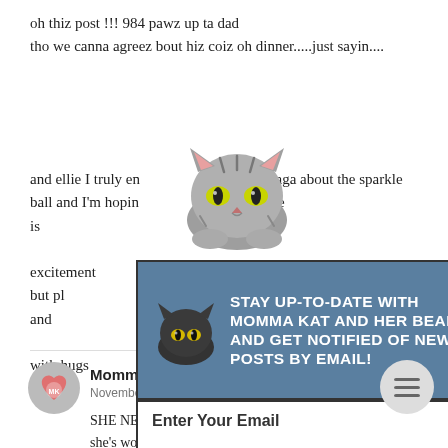oh thiz post !!! 984 pawz up ta dad tho we canna agreez bout hiz coiz oh dinner.....just sayin....
and ellie I truly en our saga about the sparkle ball and I'm hopin episode is as excitement but pl and m with hugs from
[Figure (illustration): Cartoon tabby cat face peeking over an edge, with yellow-green eyes]
[Figure (infographic): Email subscription popup with dark blue background. Text reads: STAY UP-TO-DATE WITH MOMMA KAT AND HER BEAR CAT AND GET NOTIFIED OF NEW POSTS BY EMAIL! with a dark cat illustration and email input field with Subscribe button. X close button in top right.]
Reply
[Figure (illustration): Round circular menu icon button with three horizontal lines]
[Figure (illustration): Heart-shaped avatar logo for Momma Kat and Her Bear Cat blog]
Momma Kat and Her Bear Cat
November 6, 2018 at 10:56 PM
SHE NEVER SHUTS UP! I'm telling you ... she's worse than Momma AND The Boy